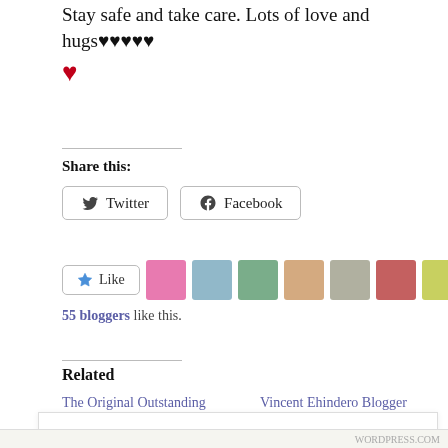Stay safe and take care. Lots of love and hugs♥♥♥♥♥ ♥
Share this:
[Figure (screenshot): Twitter and Facebook share buttons]
[Figure (screenshot): Like button with 9 blogger avatar thumbnails]
55 bloggers like this.
Related
The Original Outstanding   Vincent Ehindero Blogger
Privacy & Cookies: This site uses cookies. By continuing to use this website, you agree to their use. To find out more, including how to control cookies, see here: Cookie Policy